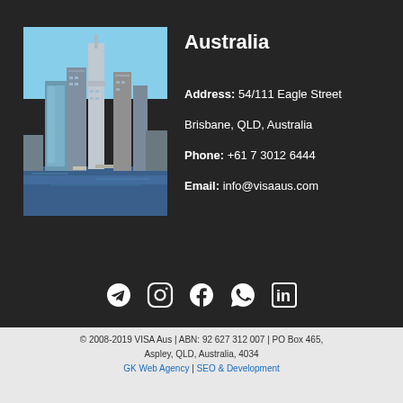[Figure (photo): Photo of Brisbane city skyline with skyscrapers and river]
Australia
Address: 54/111 Eagle Street
Brisbane, QLD, Australia
Phone: +61 7 3012 6444
Email: info@visaaus.com
[Figure (infographic): Social media icons: Telegram, Instagram, Facebook, WhatsApp, LinkedIn]
© 2008-2019 VISA Aus | ABN: 92 627 312 007 | PO Box 465, Aspley, QLD, Australia, 4034
GK Web Agency | SEO & Development